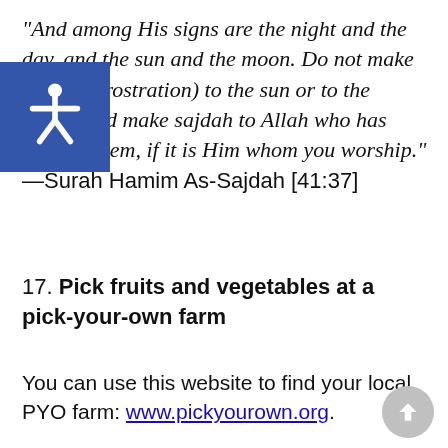“And among His signs are the night and the day, and the sun and the moon. Do not make sajdah (prostration) to the sun or to the moon. And make sajdah to Allah who has created them, if it is Him whom you worship.” —Surah Hamim As-Sajdah [41:37]
17. Pick fruits and vegetables at a pick-your-own farm
You can use this website to find your local PYO farm: www.pickyourown.org.